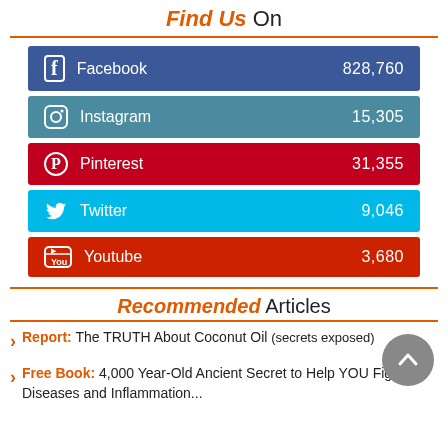Find Us On
[Figure (infographic): Social media follow counts: Facebook 828,760 | Instagram 15,305 | Pinterest 31,355 | Twitter 9,046 | Youtube 3,680]
Recommended Articles
Report: The TRUTH About Coconut Oil (secrets exposed)
Free Book: 4,000 Year-Old Ancient Secret to Help YOU Fight Diseases and Inflammation...